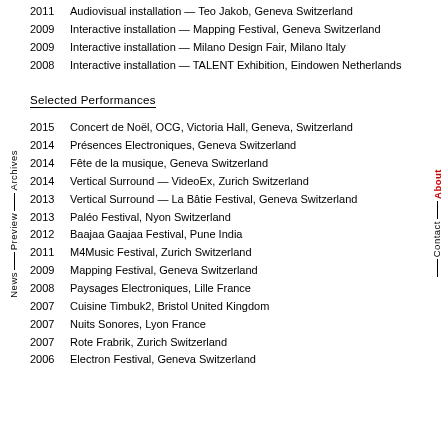2011  Audiovisual installation — Teo Jakob, Geneva Switzerland
2009  Interactive installation — Mapping Festival, Geneva Switzerland
2009  Interactive installation — Milano Design Fair, Milano Italy
2008  Interactive installation — TALENT Exhibition, Eindowen Netherlands
Selected Performances
2015  Concert de Noël, OCG, Victoria Hall, Geneva, Switzerland
2014  Présences Electroniques, Geneva Switzerland
2014  Fête de la musique, Geneva Switzerland
2014  Vertical Surround — VideoEx, Zurich Switzerland
2013  Vertical Surround — La Bâtie Festival, Geneva Switzerland
2013  Paléo Festival, Nyon Switzerland
2012  Baajaa Gaajaa Festival, Pune India
2011  M4Music Festival, Zurich Switzerland
2009  Mapping Festival, Geneva Switzerland
2008  Paysages Electroniques, Lille France
2007  Cuisine Timbuk2, Bristol United Kingdom
2007  Nuits Sonores, Lyon France
2007  Rote Frabrik, Zurich Switzerland
2006  Electron Festival, Geneva Switzerland